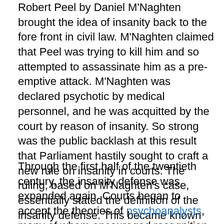Robert Peel by Daniel M'Naghten brought the idea of insanity back to the fore front in civil law. M'Naghten claimed that Peel was trying to kill him and so attempted to assassinate him as a pre-emptive attack. M'Naghten was declared psychotic by medical personnel, and he was acquitted by the court by reason of insanity. So strong was the public backlash at this result that Parliament hastily sought to craft a new rule on insanity in courts. The ruling, based on M'Naghten's case, essentially stated the definition of the insanity defense. This became known as the M'Naghten Rules, which became the general guidelines for the cognitive aspect of the insanity defense. [6]
Through the first half of the twentieth century, the insanity defense was expanded again. Courts began to accept the theories of psychoanalysts, many of whom encouraged recognition of the irresistible impulse defense. Many states enacted a combination of the M'Naghten rule